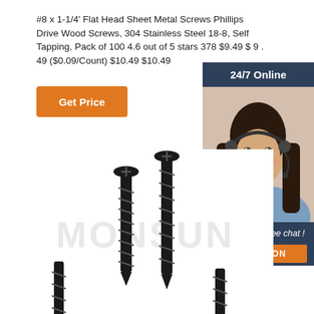#8 x 1-1/4' Flat Head Sheet Metal Screws Phillips Drive Wood Screws, 304 Stainless Steel 18-8, Self Tapping, Pack of 100 4.6 out of 5 stars 378 $9.49 $ 9 . 49 ($0.09/Count) $10.49 $10.49
[Figure (other): Orange 'Get Price' button]
[Figure (photo): Sidebar advertisement showing a customer service representative woman wearing a headset, with '24/7 Online' header, 'Click here for free chat!' text, and an orange 'QUOTATION' button, on dark navy blue background]
[Figure (photo): Product photo showing black flat head sheet metal screws (self-tapping Phillips drive wood screws) with 'MONSUN' watermark in the background]